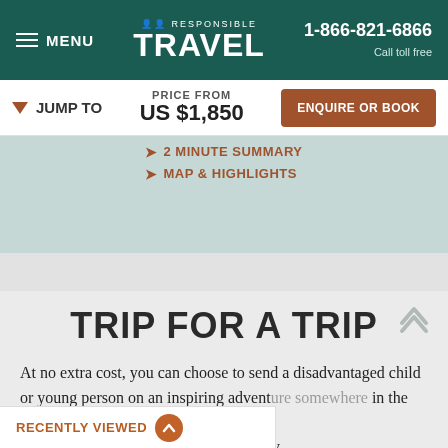MENU | RESPONSIBLE TRAVEL | 1-866-821-6866 Call toll free
JUMP TO | PRICE FROM US $1,850 | ENQUIRE OR BOOK
2 MINUTE SUMMARY
MAP & HIGHLIGHTS
TRIP FOR A TRIP
At no extra cost, you can choose to send a disadvantaged child or young person on an inspiring adventure somewhere in the world, every time you book a vacation with us. Watch our
RECENTLY VIEWED